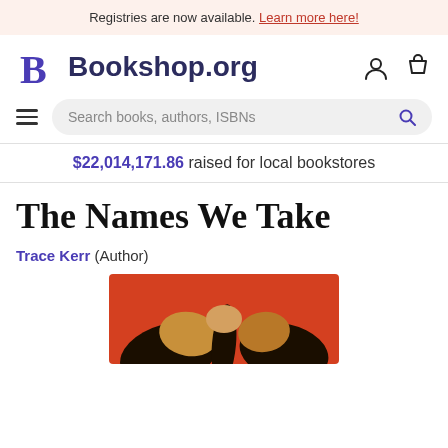Registries are now available. Learn more here!
[Figure (logo): Bookshop.org logo with stylized B and account/cart icons]
Search books, authors, ISBNs
$22,014,171.86 raised for local bookstores
The Names We Take
Trace Kerr (Author)
[Figure (illustration): Book cover of The Names We Take showing orange background with dark leaf/branch shapes and tan oval forms]